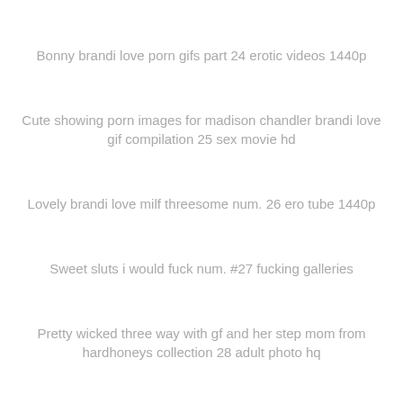Bonny brandi love porn gifs part 24 erotic videos 1440p
Cute showing porn images for madison chandler brandi love gif compilation 25 sex movie hd
Lovely brandi love milf threesome num. 26 ero tube 1440p
Sweet sluts i would fuck num. #27 fucking galleries
Pretty wicked three way with gf and her step mom from hardhoneys collection 28 adult photo hq
Sexy brandi love milf threesome part 29 xxx pics hq